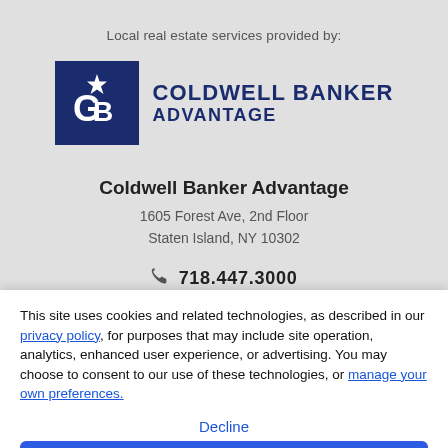Local real estate services provided by:
[Figure (logo): Coldwell Banker Advantage logo: dark blue square with CB monogram and star, with 'COLDWELL BANKER ADVANTAGE' text in dark blue to the right]
Coldwell Banker Advantage
1605 Forest Ave, 2nd Floor
Staten Island, NY 10302
718.447.3000
This site uses cookies and related technologies, as described in our privacy policy, for purposes that may include site operation, analytics, enhanced user experience, or advertising. You may choose to consent to our use of these technologies, or manage your own preferences.
Decline
Accept